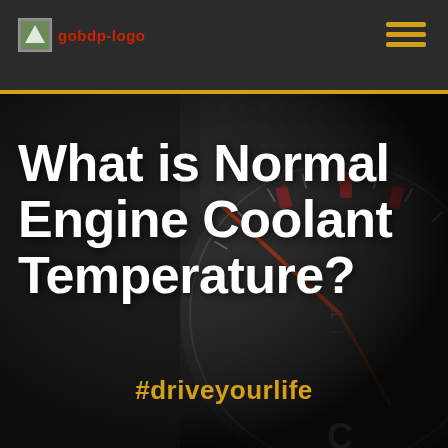gobdp-logo
[Figure (photo): Close-up photograph of a car engine coolant temperature gauge with a needle pointing near the red zone at the top. Background shows dark textured dashboard surface. The gauge has markings for C (cold) at the bottom and red indicators at the top.]
What is Normal Engine Coolant Temperature?
#driveyourlife